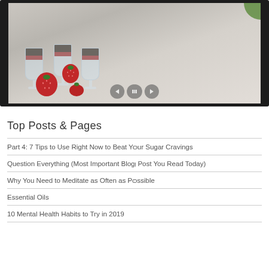[Figure (photo): A slideshow widget showing dessert glasses filled with dark berries and granola, with strawberries in the foreground on a marble surface. Navigation controls (back, pause, forward) are overlaid at the bottom center.]
Top Posts & Pages
Part 4: 7 Tips to Use Right Now to Beat Your Sugar Cravings
Question Everything (Most Important Blog Post You Read Today)
Why You Need to Meditate as Often as Possible
Essential Oils
10 Mental Health Habits to Try in 2019